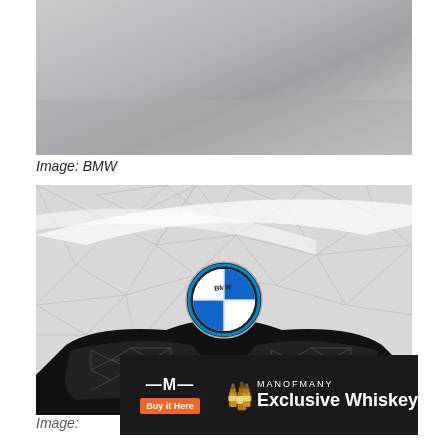[Figure (photo): Gray background car detail photo, top portion visible]
Image: BMW
[Figure (photo): Close-up of BMW car front grille with BMW logo badge, geometric triangle pattern on hood and grille, black kidney grille visible]
[Figure (infographic): MANOFMANY advertisement banner - Exclusive Whiskey, Buy It Here button, whiskey bottles]
Image: